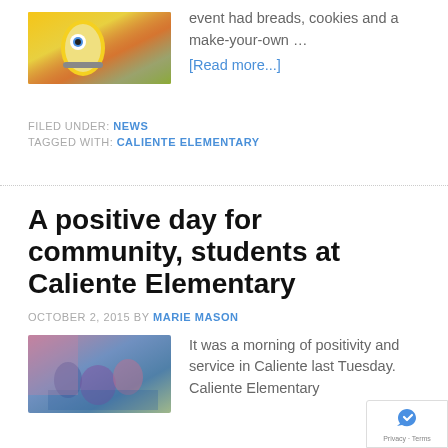[Figure (photo): Minion-themed decorated cake or display with colorful background]
event had breads, cookies and a make-your-own … [Read more...]
FILED UNDER: NEWS
TAGGED WITH: CALIENTE ELEMENTARY
A positive day for community, students at Caliente Elementary
OCTOBER 2, 2015 BY MARIE MASON
[Figure (photo): Children and adults gathered in a school setting, some sitting on the floor]
It was a morning of positivity and service in Caliente last Tuesday. Caliente Elementary